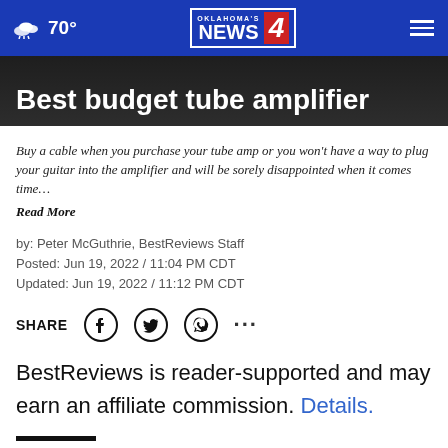Oklahoma's News 4 — 70°
Best budget tube amplifier
Buy a cable when you purchase your tube amp or you won't have a way to plug your guitar into the amplifier and will be sorely disappointed when it comes time… Read More
by: Peter McGuthrie, BestReviews Staff
Posted: Jun 19, 2022 / 11:04 PM CDT
Updated: Jun 19, 2022 / 11:12 PM CDT
SHARE
BestReviews is reader-supported and may earn an affiliate commission. Details.